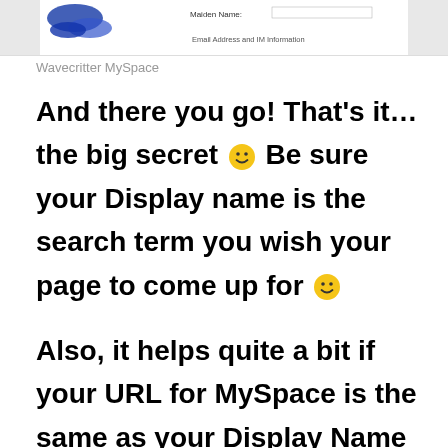[Figure (screenshot): Screenshot of a MySpace profile page showing Maiden Name field and Email Address and IM Information section]
Wavecritter MySpace
And there you go! That's it…the big secret 🙂 Be sure your Display name is the search term you wish your page to come up for 🙂

Also, it helps quite a bit if your URL for MySpace is the same as your Display Name 🙂 Be sure it is what you want and how you want to be searched because